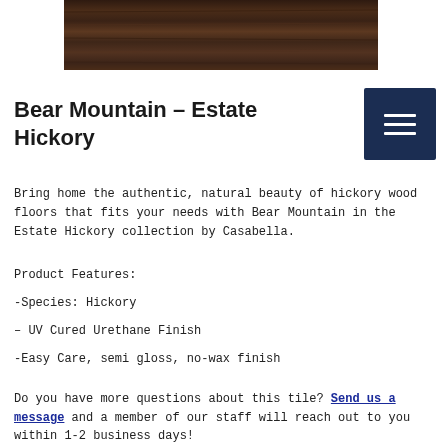[Figure (photo): Close-up photo of dark brown hickory wood flooring with natural grain texture]
Bear Mountain – Estate Hickory
Bring home the authentic, natural beauty of hickory wood floors that fits your needs with Bear Mountain in the Estate Hickory collection by Casabella.
Product Features:
-Species: Hickory
– UV Cured Urethane Finish
-Easy Care, semi gloss, no-wax finish
Do you have more questions about this tile? Send us a message and a member of our staff will reach out to you within 1-2 business days!